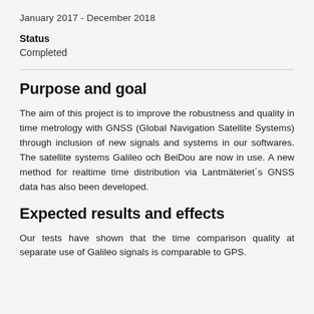January 2017 - December 2018
Status
Completed
Purpose and goal
The aim of this project is to improve the robustness and quality in time metrology with GNSS (Global Navigation Satellite Systems) through inclusion of new signals and systems in our softwares. The satellite systems Galileo och BeiDou are now in use. A new method for realtime time distribution via Lantmäteriet´s GNSS data has also been developed.
Expected results and effects
Our tests have shown that the time comparison quality at separate use of Galileo signals is comparable to GPS.